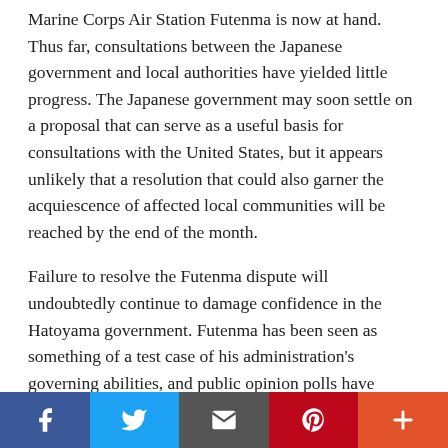Marine Corps Air Station Futenma is now at hand. Thus far, consultations between the Japanese government and local authorities have yielded little progress. The Japanese government may soon settle on a proposal that can serve as a useful basis for consultations with the United States, but it appears unlikely that a resolution that could also garner the acquiescence of affected local communities will be reached by the end of the month.
Failure to resolve the Futenma dispute will undoubtedly continue to damage confidence in the Hatoyama government. Futenma has been seen as something of a test case of his administration's governing abilities, and public opinion polls have shown a rapid decline in the cabinet's support rate. Hastily labeling the Hatoyama government as incapable is overly harsh; however, it may be fair to say that given the complexities of the issue, publicly setting a deadline was unwise and the lion's share of the blame regarding this
[Figure (other): Social sharing bar with buttons: Facebook (blue), Twitter (light blue), Email/envelope (dark gray), Pinterest (red), More/plus (orange-red)]